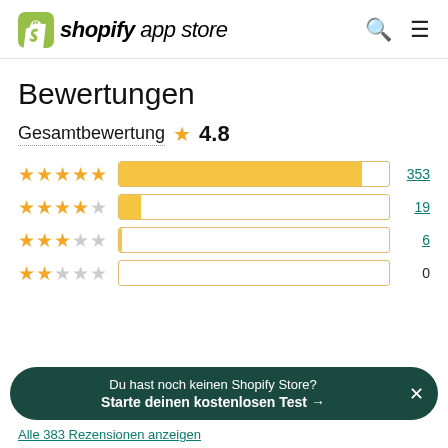shopify app store
Bewertungen
Gesamtbewertung ★ 4.8
[Figure (bar-chart): Rating distribution]
Du hast noch keinen Shopify Store? Starte deinen kostenlosen Test →
Alle 383 Rezensionen anzeigen